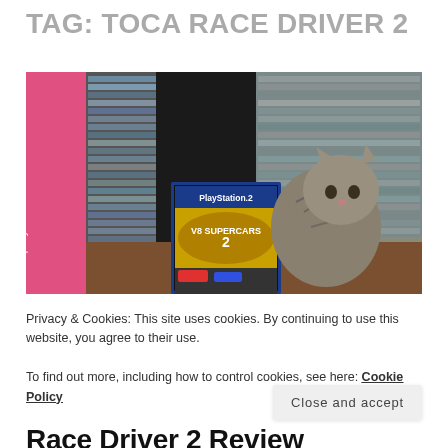TAG: TOCA RACE DRIVER 2
[Figure (photo): Photo of a PlayStation 2 game case (V8 Supercars Race Driver 2) propped against a stack of PS2 game boxes, with a tabby kitten sitting beside it on a shelf. A pink Pom-Pom party box is visible on the left.]
Privacy & Cookies: This site uses cookies. By continuing to use this website, you agree to their use.
To find out more, including how to control cookies, see here: Cookie Policy
Close and accept
Race Driver 2 Review